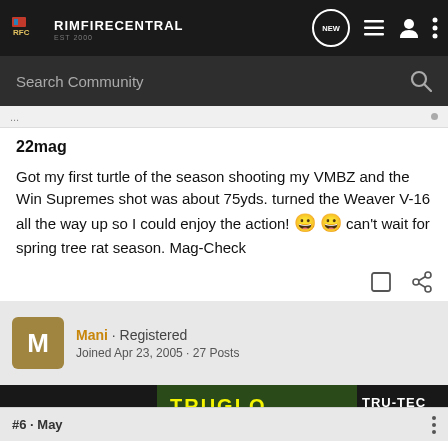RIMFIRECENTRAL
Search Community
22mag
Got my first turtle of the season shooting my VMBZ and the Win Supremes shot was about 75yds. turned the Weaver V-16 all the way up so I could enjoy the action! 😀 😀 can't wait for spring tree rat season. Mag-Check
Mani · Registered
Joined Apr 23, 2005 · 27 Posts
[Figure (screenshot): TRUGLO TRU-TEC MICRO advertisement banner]
#6 · May